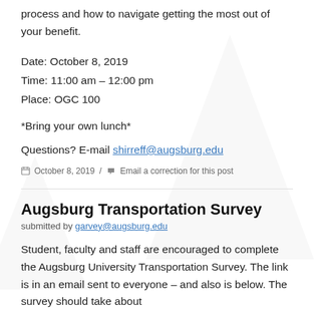process and how to navigate getting the most out of your benefit.
Date: October 8, 2019
Time: 11:00 am – 12:00 pm
Place: OGC 100
*Bring your own lunch*
Questions? E-mail shirreff@augsburg.edu
October 8, 2019 / Email a correction for this post
Augsburg Transportation Survey
submitted by garvey@augsburg.edu
Student, faculty and staff are encouraged to complete the Augsburg University Transportation Survey. The link is in an email sent to everyone – and also is below. The survey should take about